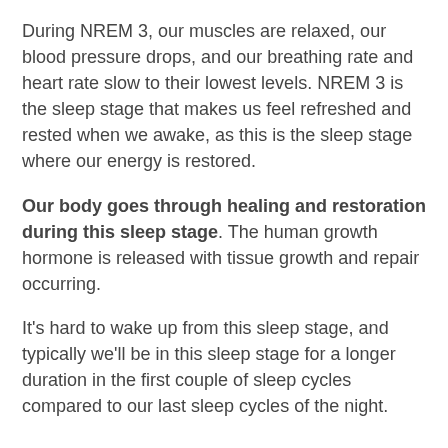During NREM 3, our muscles are relaxed, our blood pressure drops, and our breathing rate and heart rate slow to their lowest levels. NREM 3 is the sleep stage that makes us feel refreshed and rested when we awake, as this is the sleep stage where our energy is restored.
Our body goes through healing and restoration during this sleep stage. The human growth hormone is released with tissue growth and repair occurring.
It's hard to wake up from this sleep stage, and typically we'll be in this sleep stage for a longer duration in the first couple of sleep cycles compared to our last sleep cycles of the night.